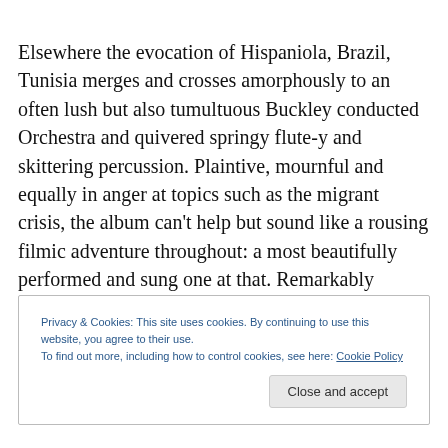Elsewhere the evocation of Hispaniola, Brazil, Tunisia merges and crosses amorphously to an often lush but also tumultuous Buckley conducted Orchestra and quivered springy flute-y and skittering percussion. Plaintive, mournful and equally in anger at topics such as the migrant crisis, the album can't help but sound like a rousing filmic adventure throughout: a most beautifully performed and sung one at that. Remarkably considering
Privacy & Cookies: This site uses cookies. By continuing to use this website, you agree to their use.
To find out more, including how to control cookies, see here: Cookie Policy
Close and accept
…